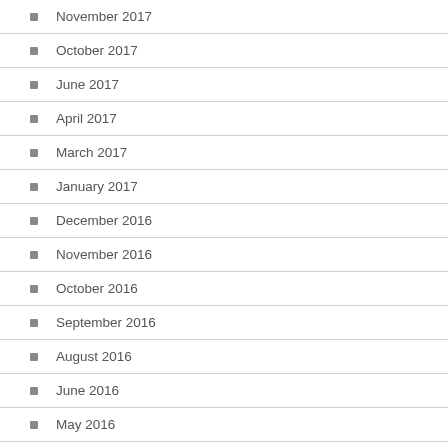November 2017
October 2017
June 2017
April 2017
March 2017
January 2017
December 2016
November 2016
October 2016
September 2016
August 2016
June 2016
May 2016
February 2016
December 2015